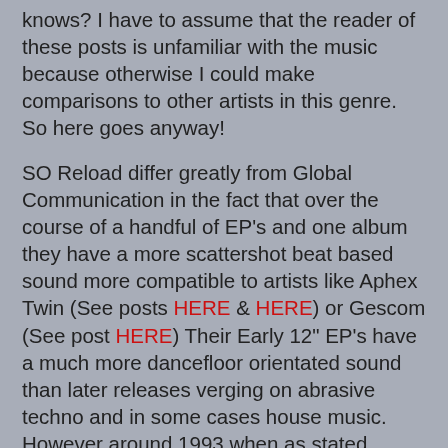knows? I have to assume that the reader of these posts is unfamiliar with the music because otherwise I could make comparisons to other artists in this genre. So here goes anyway!
SO Reload differ greatly from Global Communication in the fact that over the course of a handful of EP's and one album they have a more scattershot beat based sound more compatible to artists like Aphex Twin (See posts HERE & HERE) or Gescom (See post HERE) Their Early 12" EP's have a much more dancefloor orientated sound than later releases verging on abrasive techno and in some cases house music. However around 1993 when as stated above Tom Middleton joined the Reload name things started to become more lush. Reload definitely shade their music in dark and light some pieces are so beautiful with soaring strings and waves they just melt you into your seat and some are quite dark and definitely leave you with a chill up your spine this exactly what I love about this artist!
So onto your links I have compiled Both Reload's Infonet releases the "Collection Of Short Stories" album and "Auto